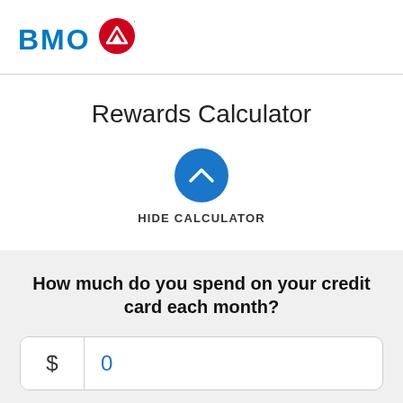[Figure (logo): BMO Bank of Montreal logo with red circle icon and blue BMO text]
Rewards Calculator
[Figure (illustration): Blue circle button with white upward chevron arrow, labeled HIDE CALCULATOR]
HIDE CALCULATOR
How much do you spend on your credit card each month?
$ 0